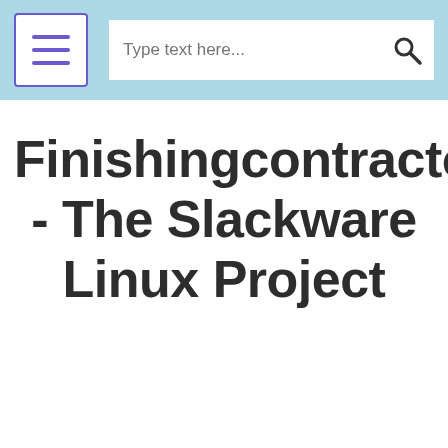[Figure (screenshot): Navigation bar with hamburger menu button on the left and search input with search icon on the right, on a light blue background.]
Finishingcontractors.org - The Slackware Linux Project